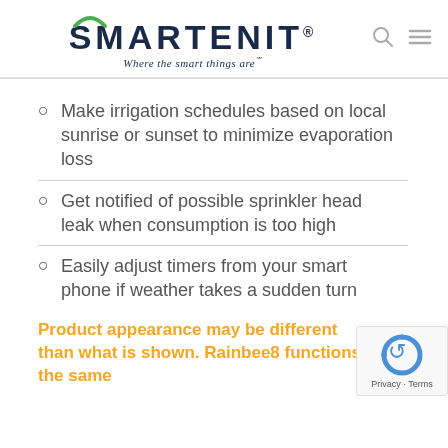SMARTENIT® — Where the smart things are℠
Make irrigation schedules based on local sunrise or sunset to minimize evaporation loss
Get notified of possible sprinkler head leak when consumption is too high
Easily adjust timers from your smart phone if weather takes a sudden turn
Product appearance may be different than what is shown. Rainbee8 functions the same ???